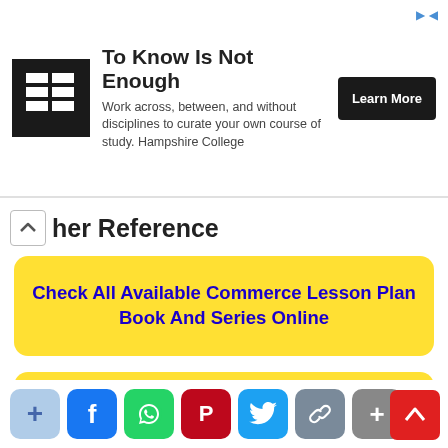[Figure (infographic): Advertisement banner for Hampshire College: 'To Know Is Not Enough' with logo, description text, and Learn More button]
Further Reference
Check All Available Commerce Lesson Plan Book And Series Online
Buy Teaching Of Commerce And Business Study Lesson Plan File Online At Lowest Price
Search All Available B.Ed Study Material, Files, Assignments And Exam Preparation Guide Online
[Figure (infographic): Social sharing bar with buttons: Add, Facebook, WhatsApp, Pinterest, Twitter, Link, Add More]